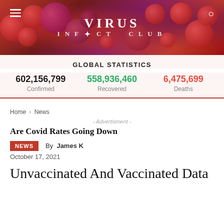VIRUS INFECT CLUB
GLOBAL STATISTICS
| Confirmed | Recovered | Deaths |
| --- | --- | --- |
| 602,156,799 | 558,936,460 | 6,475,699 |
Home › News
- Advertisment -
Are Covid Rates Going Down
NEWS  By James K
October 17, 2021
Unvaccinated And Vaccinated Data